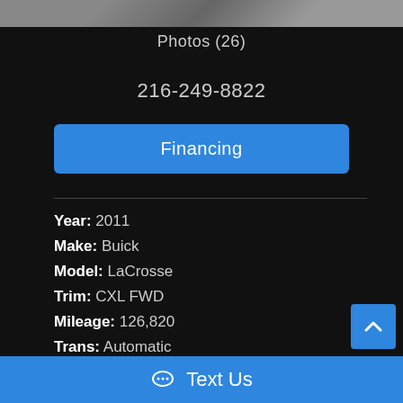[Figure (photo): Partial car photo strip at top of page]
Photos (26)
216-249-8822
Financing
Year: 2011
Make: Buick
Model: LaCrosse
Trim: CXL FWD
Mileage: 126,820
Trans: Automatic
Text Us